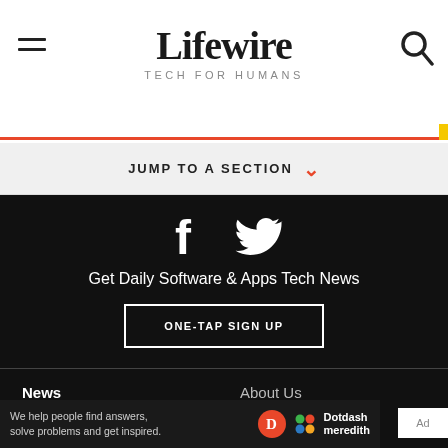Lifewire TECH FOR HUMANS
JUMP TO A SECTION
[Figure (illustration): Facebook and Twitter social media icons in white on dark background]
Get Daily Software & Apps Tech News
ONE-TAP SIGN UP
News
Best Products
Mobile Phones
About Us
Advertise
Privacy Policy
Cookie Policy
We help people find answers, solve problems and get inspired. Dotdash meredith